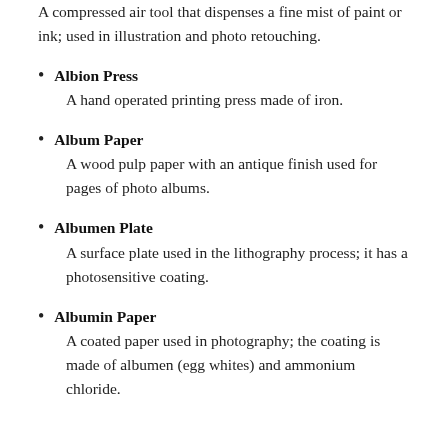A compressed air tool that dispenses a fine mist of paint or ink; used in illustration and photo retouching.
Albion Press
A hand operated printing press made of iron.
Album Paper
A wood pulp paper with an antique finish used for pages of photo albums.
Albumen Plate
A surface plate used in the lithography process; it has a photosensitive coating.
Albumin Paper
A coated paper used in photography; the coating is made of albumen (egg whites) and ammonium chloride.